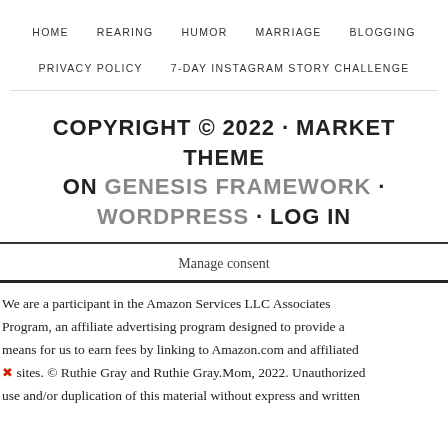HOME   REARING   HUMOR   MARRIAGE   BLOGGING   PRIVACY POLICY   7-DAY INSTAGRAM STORY CHALLENGE
COPYRIGHT © 2022 · MARKET THEME ON GENESIS FRAMEWORK · WORDPRESS · LOG IN
Manage consent
We are a participant in the Amazon Services LLC Associates Program, an affiliate advertising program designed to provide a means for us to earn fees by linking to Amazon.com and affiliated sites. © Ruthie Gray and Ruthie Gray.Mom, 2022. Unauthorized use and/or duplication of this material without express and written